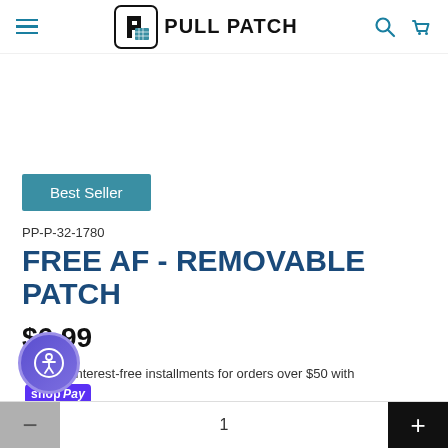Pull Patch - navigation header with hamburger menu, logo, search and cart icons
[Figure (logo): Pull Patch logo with P icon in rounded square and brand name text]
Best Seller
PP-P-32-1780
FREE AF - REMOVABLE PATCH
$6.99
Pay in 4 interest-free installments for orders over $50 with Shop Pay
Learn more